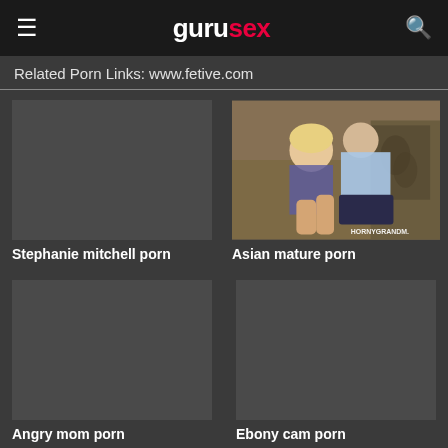gurusex
Related Porn Links: www.fetive.com
Stephanie mitchell porn
[Figure (photo): Two people on a couch, watermark HornyGrandm.]
Asian mature porn
Angry mom porn
Ebony cam porn